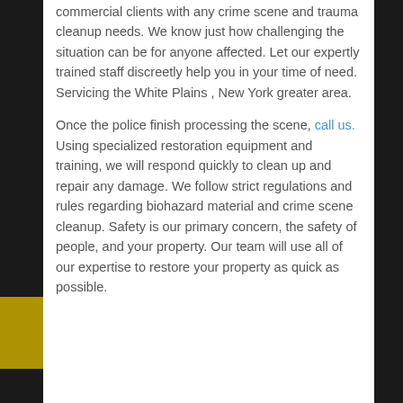commercial clients with any crime scene and trauma cleanup needs. We know just how challenging the situation can be for anyone affected. Let our expertly trained staff discreetly help you in your time of need. Servicing the White Plains , New York greater area.

Once the police finish processing the scene, call us. Using specialized restoration equipment and training, we will respond quickly to clean up and repair any damage. We follow strict regulations and rules regarding biohazard material and crime scene cleanup. Safety is our primary concern, the safety of people, and your property. Our team will use all of our expertise to restore your property as quick as possible.